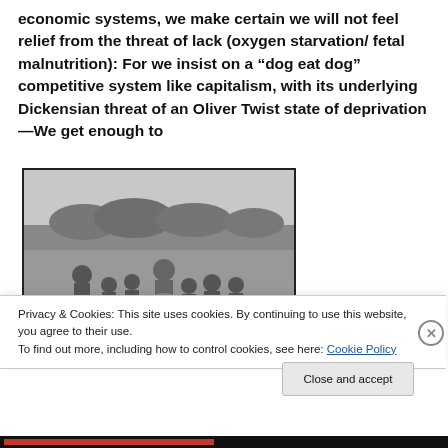economic systems, we make certain we will not feel relief from the threat of lack (oxygen starvation/ fetal malnutrition): For we insist on a “dog eat dog” competitive system like capitalism, with its underlying Dickensian threat of an Oliver Twist state of deprivation—We get enough to
[Figure (photo): Black and white photograph of a group of children and an adult in a field, gathered around what appears to be a bucket or container.]
Privacy & Cookies: This site uses cookies. By continuing to use this website, you agree to their use.
To find out more, including how to control cookies, see here: Cookie Policy
Close and accept